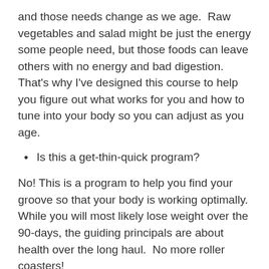and those needs change as we age.  Raw vegetables and salad might be just the energy some people need, but those foods can leave others with no energy and bad digestion. That’s why I’ve designed this course to help you figure out what works for you and how to tune into your body so you can adjust as you age.
Is this a get-thin-quick program?
No! This is a program to help you find your groove so that your body is working optimally. While you will most likely lose weight over the 90-days, the guiding principals are about health over the long haul.  No more roller coasters!
How much does it cost and are there payment options?